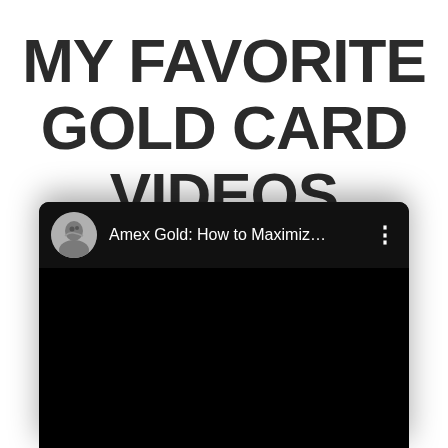MY FAVORITE GOLD CARD VIDEOS
[Figure (screenshot): Screenshot of a YouTube video card showing a male presenter's circular avatar photo and the title 'Amex Gold: How to Maximiz...' with a three-dot menu icon, on a black background.]